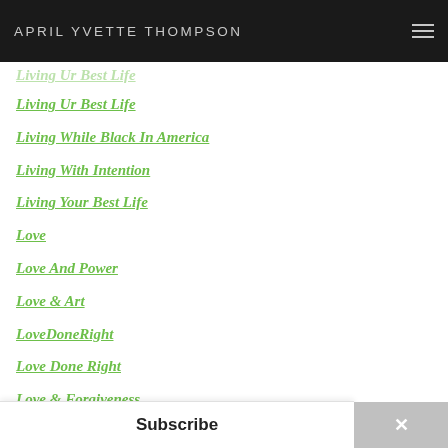APRIL YVETTE THOMPSON
Living Ur Best Life
Living While Black In America
Living With Intention
Living Your Best Life
Love
Love And Power
Love & Art
LoveDoneRight
Love Done Right
Love & Forgiveness
Magical New Beginnings
Make Money Working For Yourself
MAKE YOUR OWN WORK
Manifesting
Manifestation Like A Mother f...
Subscribe